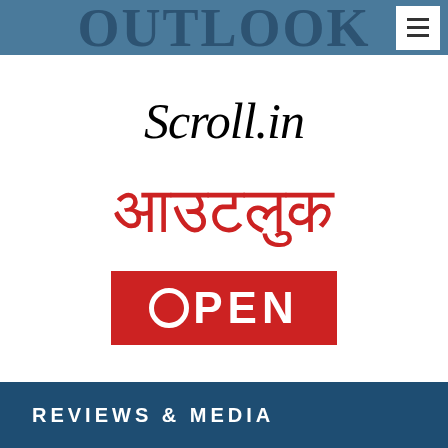Outlook
[Figure (logo): Scroll.in logo in italic serif font]
[Figure (logo): Outlook Hindi logo in red Devanagari script: आउटलुक]
[Figure (logo): OPEN magazine logo - white text on red background rectangle]
REVIEWS & MEDIA